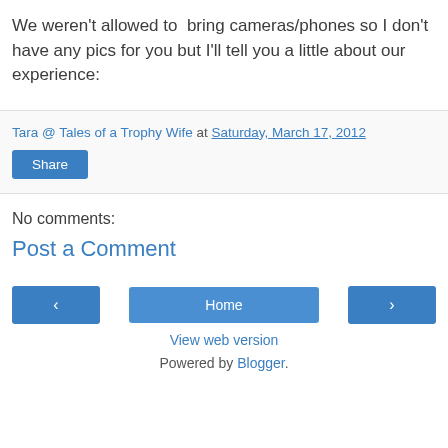We weren't allowed to  bring cameras/phones so I don't have any pics for you but I'll tell you a little about our experience:
Tara @ Tales of a Trophy Wife at Saturday, March 17, 2012
Share
No comments:
Post a Comment
‹
Home
›
View web version
Powered by Blogger.